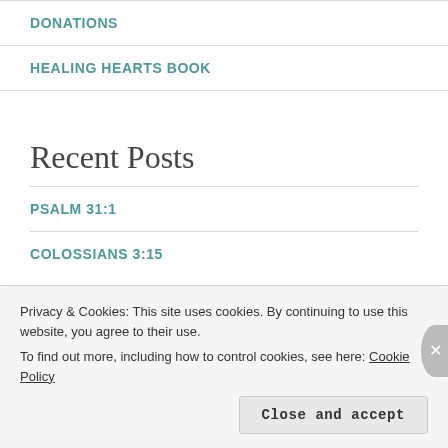DONATIONS
HEALING HEARTS BOOK
Recent Posts
PSALM 31:1
COLOSSIANS 3:15
Privacy & Cookies: This site uses cookies. By continuing to use this website, you agree to their use.
To find out more, including how to control cookies, see here: Cookie Policy
Close and accept